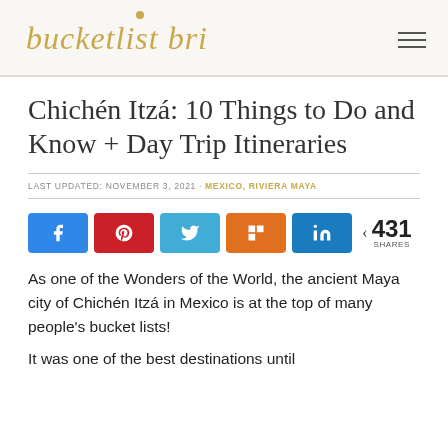bucketlist bri
Chichén Itzá: 10 Things to Do and Know + Day Trip Itineraries
LAST UPDATED: NOVEMBER 3, 2021 · MEXICO, RIVIERA MAYA
[Figure (infographic): Social share buttons: Facebook, Pinterest, Twitter, Flipboard, LinkedIn, and share count of 431 SHARES]
As one of the Wonders of the World, the ancient Maya city of Chichén Itzá in Mexico is at the top of many people's bucket lists!
It was one of the best destinations until